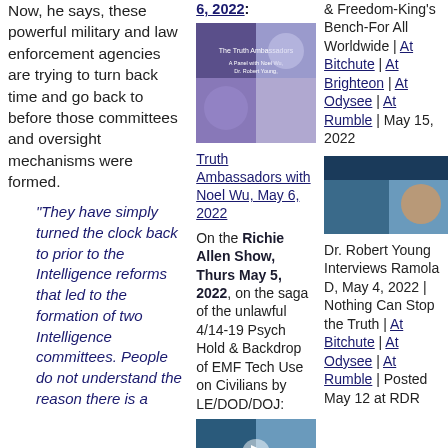Now, he says, these powerful military and law enforcement agencies are trying to turn back time and go back to before those committees and oversight mechanisms were formed.
“They have simply turned the clock back to prior to the Intelligence reforms that led to the formation of two Intelligence committees. People do not understand the reason there is a
6, 2022:
[Figure (photo): Thumbnail image for Truth Ambassadors with Noel Wu video, showing multiple people including a woman holding a book]
Truth Ambassadors with Noel Wu, May 6, 2022
On the Richie Allen Show, Thurs May 5, 2022, on the saga of the unlawful 4/14-19 Psych Hold & Backdrop of EMF Tech Use on Civilians by LE/DOD/DOJ:
[Figure (photo): Thumbnail image for a video with play button overlay]
& Freedom-King’s Bench-For All Worldwide | At Bitchute | At Brighteon | At Odysee | At Rumble | May 15, 2022
[Figure (photo): Thumbnail image for Dr. Robert Young Interviews Ramola D video]
Dr. Robert Young Interviews Ramola D, May 4, 2022 | Nothing Can Stop the Truth | At Bitchute | At Odysee | At Rumble | Posted May 12 at RDR